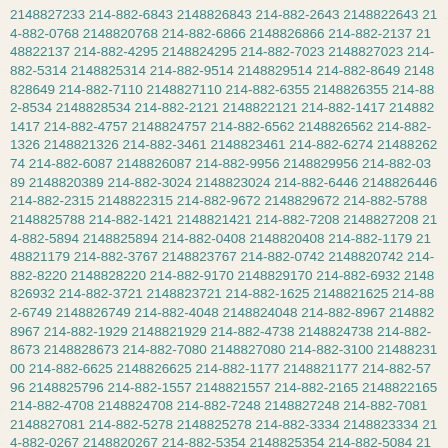2148827233 214-882-6843 2148826843 214-882-2643 2148822643 214-882-0768 2148820768 214-882-6866 2148826866 214-882-2137 2148822137 214-882-4295 2148824295 214-882-7023 2148827023 214-882-5314 2148825314 214-882-9514 2148829514 214-882-8649 2148828649 214-882-7110 2148827110 214-882-6355 2148826355 214-882-8534 2148828534 214-882-2121 2148822121 214-882-1417 2148821417 214-882-4757 2148824757 214-882-6562 2148826562 214-882-1326 2148821326 214-882-3461 2148823461 214-882-6274 2148826274 214-882-6087 2148826087 214-882-9956 2148829956 214-882-0389 2148820389 214-882-3024 2148823024 214-882-6446 2148826446 214-882-2315 2148822315 214-882-9672 2148829672 214-882-5788 2148825788 214-882-1421 2148821421 214-882-7208 2148827208 214-882-5894 2148825894 214-882-0408 2148820408 214-882-1179 2148821179 214-882-3767 2148823767 214-882-0742 2148820742 214-882-8220 2148828220 214-882-9170 2148829170 214-882-6932 2148826932 214-882-3721 2148823721 214-882-1625 2148821625 214-882-6749 2148826749 214-882-4048 2148824048 214-882-8967 2148828967 214-882-1929 2148821929 214-882-4738 2148824738 214-882-8673 2148828673 214-882-7080 2148827080 214-882-3100 2148823100 214-882-6625 2148826625 214-882-1177 2148821177 214-882-5796 2148825796 214-882-1557 2148821557 214-882-2165 2148822165 214-882-4708 2148824708 214-882-7248 2148827248 214-882-7081 2148827081 214-882-5278 2148825278 214-882-3334 2148823334 214-882-0267 2148820267 214-882-5354 2148825354 214-882-5084 2148825084 214-882-5548 2148825548 214-882-5808 2148825808 214-882-5082 2148825082 214-882-1967 2148821967 214-882-2409 2148822409 214-882-5179 2148825179 214-